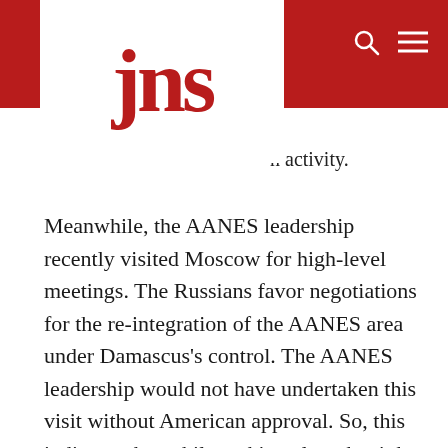[Figure (logo): JNS logo — red letters 'jns' on white background inside a white box overlaid on a dark red header bar]
n activity.
Meanwhile, the AANES leadership recently visited Moscow for high-level meetings. The Russians favor negotiations for the re-integration of the AANES area under Damascus's control. The AANES leadership would not have undertaken this visit without American approval. So, this indicates that while making clear that it has no immediate plans to quit its presence in Syria, the U.S. also appears to have no long-term diplomatic strategy.